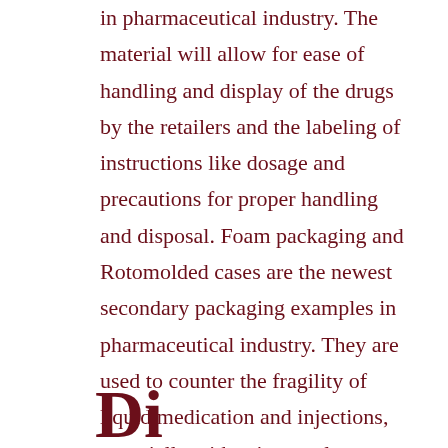in pharmaceutical industry. The material will allow for ease of handling and display of the drugs by the retailers and the labeling of instructions like dosage and precautions for proper handling and disposal. Foam packaging and Rotomolded cases are the newest secondary packaging examples in pharmaceutical industry. They are used to counter the fragility of liquid medication and injections, especially with primary glass packing. The casings ensure that the fragile glasses do not break during transportation and are not exposed to extreme temperatures.
Di...